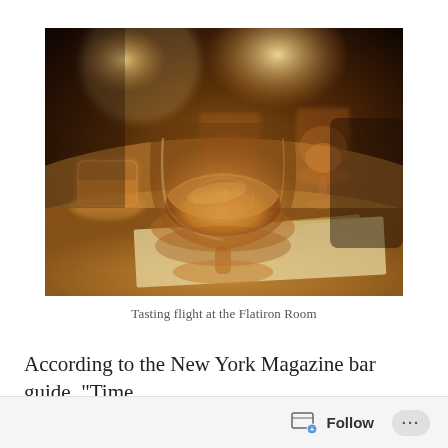[Figure (photo): A tasting flight of cognac/whiskey snifter glasses on a table at the Flatiron Room bar. Warm amber lighting, multiple balloon glasses with amber spirit, a menu/coaster on the table, dark atmospheric background.]
Tasting flight at the Flatiron Room
According to the New York Magazine bar guide, "Time